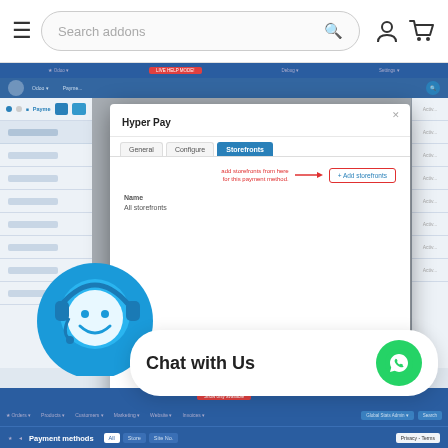[Figure (screenshot): Top navigation bar with hamburger menu, 'Search addons' search bar, user and cart icons]
[Figure (screenshot): Admin panel screenshot showing a 'Hyper Pay' payment method modal dialog with General, Configure, and Storefronts tabs. The Storefronts tab is active (highlighted in blue). Annotations in red show 'add storefronts from here for this payment method' pointing to '+ Add storefronts' button, and 'click on save' pointing to Save button. Modal has Name field showing 'All storefronts'. Cancel and Save buttons at bottom.]
[Figure (screenshot): Chat support widget showing a support agent icon on the left, 'Chat with Us' text bubble with WhatsApp green button on the right]
Payment methods
Chat with Us